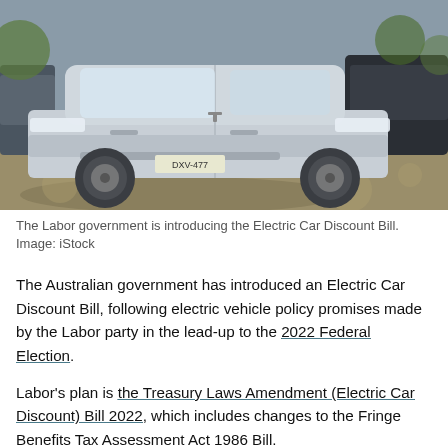[Figure (photo): A silver Tesla Model X SUV parked in a parking area with another dark vehicle partially visible to the right. Sunshine and dappled shadows visible on the ground.]
The Labor government is introducing the Electric Car Discount Bill. Image: iStock
The Australian government has introduced an Electric Car Discount Bill, following electric vehicle policy promises made by the Labor party in the lead-up to the 2022 Federal Election.
Labor's plan is the Treasury Laws Amendment (Electric Car Discount) Bill 2022, which includes changes to the Fringe Benefits Tax Assessment Act 1986 Bill.
The specific amendment? Making electric cars, hydrogen cars and plug-in hybrids below the luxury car tax threshold